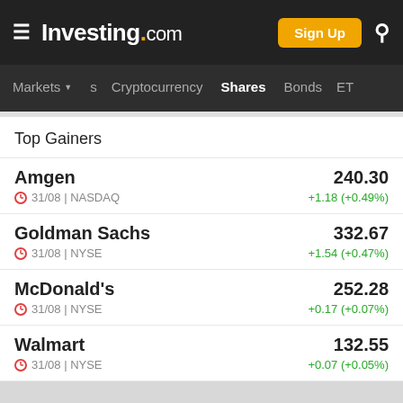Investing.com — Sign Up — Search
Markets | Cryptocurrency | Shares | Bonds | ETF
Top Gainers
Amgen | 31/08 | NASDAQ | 240.30 | +1.18 (+0.49%)
Goldman Sachs | 31/08 | NYSE | 332.67 | +1.54 (+0.47%)
McDonald's | 31/08 | NYSE | 252.28 | +0.17 (+0.07%)
Walmart | 31/08 | NYSE | 132.55 | +0.07 (+0.05%)